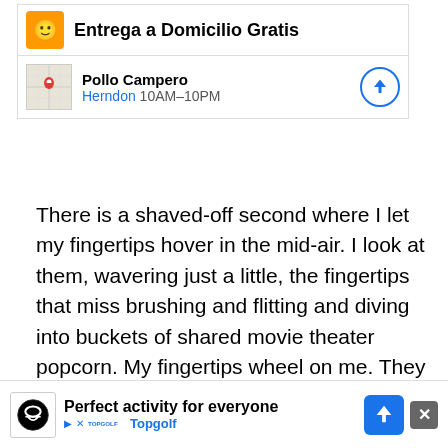[Figure (screenshot): Top advertisement banner showing 'Entrega a Domicilio Gratis' with orange icon, and below it Pollo Campero location in Herndon 10AM-10PM with map thumbnail and direction button]
There is a shaved-off second where I let my fingertips hover in the mid-air. I look at them, wavering just a little, the fingertips that miss brushing and flitting and diving into buckets of shared movie theater popcorn. My fingertips wheel on me. They accost me! They’ve formed a little mouth, like a talking Rock, Paper, Scissors scissor. “Do you think maybe you’re doing this [Personality Quiz] to avoid doing something else?” my fingertips-scissor asks me. “We know being alive right now is a case study in avoidance/coping methodology these days but Frank buddy, friend, maybe take a second here.”
[Figure (screenshot): Bottom advertisement banner for Topgolf with text 'Perfect activity for everyone' and Topgolf logo with navigation button and close X button]